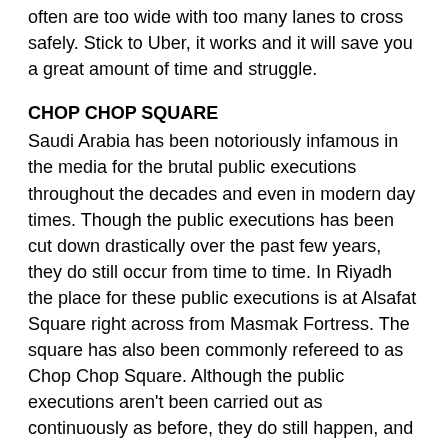often are too wide with too many lanes to cross safely. Stick to Uber, it works and it will save you a great amount of time and struggle.
CHOP CHOP SQUARE
Saudi Arabia has been notoriously infamous in the media for the brutal public executions throughout the decades and even in modern day times. Though the public executions has been cut down drastically over the past few years, they do still occur from time to time. In Riyadh the place for these public executions is at Alsafat Square right across from Masmak Fortress. The square has also been commonly refereed to as Chop Chop Square. Although the public executions aren't been carried out as continuously as before, they do still happen, and when they do, it's often on Fridays after the main prayer right around 9 am. We headed to Chop Chop Square on a Friday right around that time - not knowing if we even wanted to attend such an event, but curios nonetheless. The square was absolutely empty, so we had a silent walk around the blod drains in